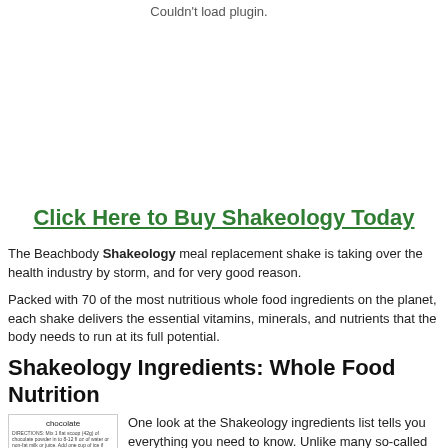Couldn't load plugin.
Click Here to Buy Shakeology Today
The Beachbody Shakeology meal replacement shake is taking over the health industry by storm, and for very good reason.
Packed with 70 of the most nutritious whole food ingredients on the planet, each shake delivers the essential vitamins, minerals, and nutrients that the body needs to run at its full potential.
Shakeology Ingredients: Whole Food Nutrition
[Figure (photo): Supplement Facts label for Shakeology chocolate flavor showing directions and supplement facts header]
One look at the Shakeology ingredients list tells you everything you need to know. Unlike many so-called "meal replacement shakes", Shakeology is